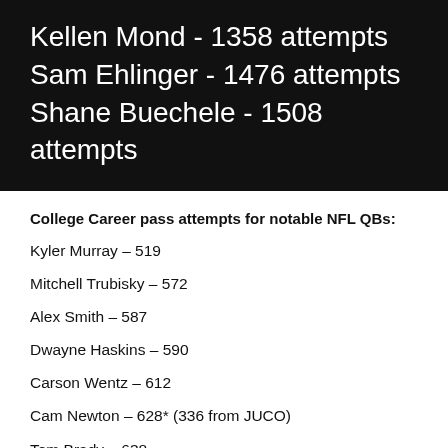[Figure (infographic): Black banner with white text listing three QBs and their college career pass attempt totals: Kellen Mond - 1358 attempts, Sam Ehlinger - 1476 attempts, Shane Buechele - 1508 attempts]
College Career pass attempts for notable NFL QBs:
Kyler Murray – 519
Mitchell Trubisky – 572
Alex Smith – 587
Dwayne Haskins – 590
Carson Wentz – 612
Cam Newton – 628* (336 from JUCO)
Tom Brady – 638